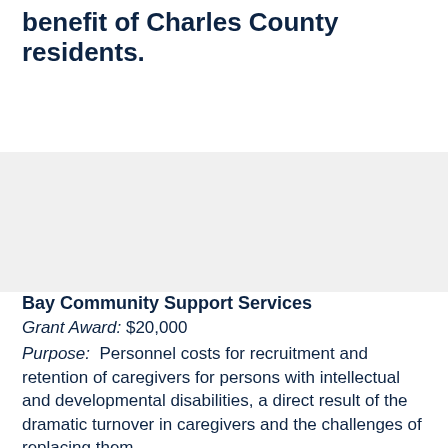benefit of Charles County residents.
Bay Community Support Services
Grant Award: $20,000
Purpose:  Personnel costs for recruitment and retention of caregivers for persons with intellectual and developmental disabilities, a direct result of the dramatic turnover in caregivers and the challenges of replacing them